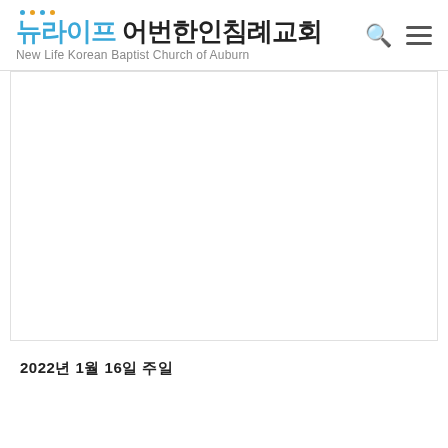뉴라이프 어번한인침례교회 New Life Korean Baptist Church of Auburn
[Figure (other): Empty white content area/image placeholder below the site header]
2022년 1월 16일 주일